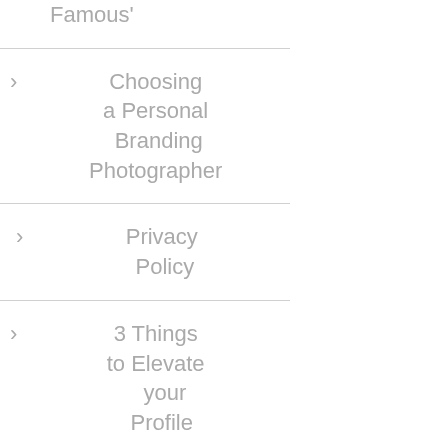Famous'
> Choosing a Personal Branding Photographer
> Privacy Policy
> 3 Things to Elevate your Profile
> 5 tips for getting great Christmas